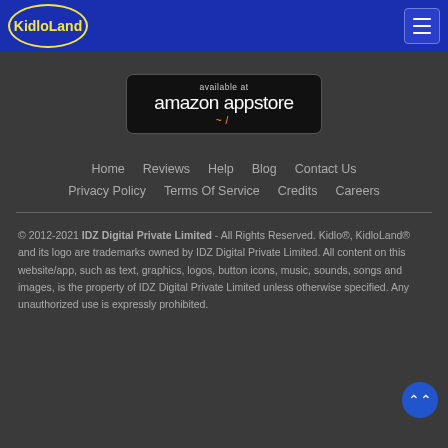KidloLand
[Figure (logo): Amazon Appstore badge - black rounded rectangle with 'available at amazon appstore' text and Amazon smile logo]
Home   Reviews   Help   Blog   Contact Us   Privacy Policy   Terms Of Service   Credits   Careers
© 2012-2021 IDZ Digital Private Limited - All Rights Reserved. Kidlo®, KidloLand® and its logo are trademarks owned by IDZ Digital Private Limited. All content on this website/app, such as text, graphics, logos, button icons, music, sounds, songs and images, is the property of IDZ Digital Private Limited unless otherwise specified. Any unauthorized use is expressly prohibited.